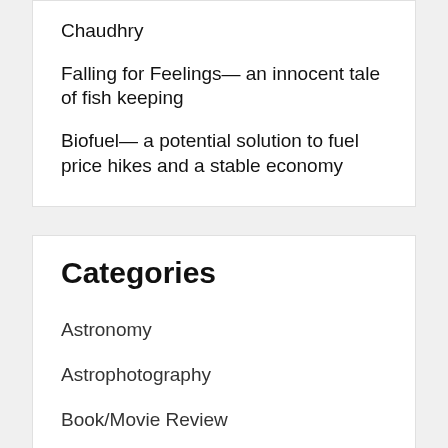Chaudhry
Falling for Feelings— an innocent tale of fish keeping
Biofuel— a potential solution to fuel price hikes and a stable economy
Categories
Astronomy
Astrophotography
Book/Movie Review
Breakthrough
Cover Story